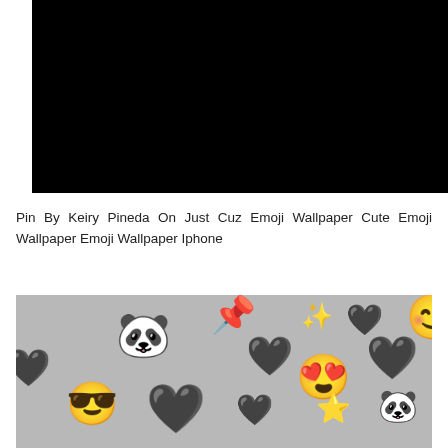[Figure (photo): Black/dark image area at the top of the page]
Pin By Keiry Pineda On Just Cuz Emoji Wallpaper Cute Emoji Wallpaper Emoji Wallpaper Iphone
[Figure (photo): Emoji wallpaper image on a grey background showing various emojis: panda face, black hearts, sunglasses smileys, star emoji, love-eyes face, and other emoji icons scattered across a grey background]